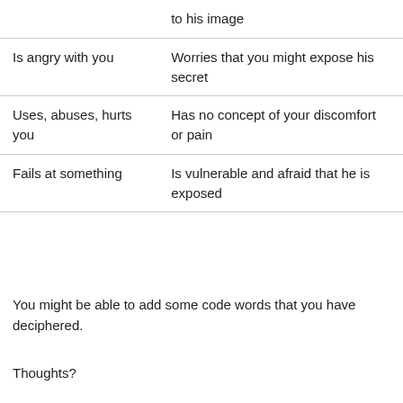|  | to his image |
| Is angry with you | Worries that you might expose his secret |
| Uses, abuses, hurts you | Has no concept of your discomfort or pain |
| Fails at something | Is vulnerable and afraid that he is exposed |
You might be able to add some code words that you have deciphered.
Thoughts?